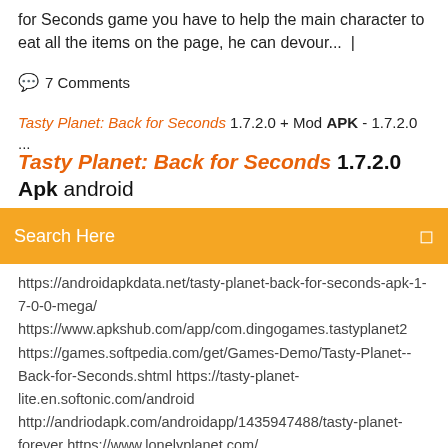for Seconds game you have to help the main character to eat all the items on the page, he can devour...  |
💬  7 Comments
Tasty Planet: Back for Seconds 1.7.2.0 + Mod APK - 1.7.2.0 ...
Tasty Planet: Back for Seconds 1.7.2.0 Apk android
Search Here
https://androidapkdata.net/tasty-planet-back-for-seconds-apk-1-7-0-0-mega/ https://www.apkshub.com/app/com.dingogames.tastyplanet2 https://games.softpedia.com/get/Games-Demo/Tasty-Planet--Back-for-Seconds.shtml https://tasty-planet-lite.en.softonic.com/android http://andriodapk.com/androidapp/1435947488/tasty-planet-forever https://www.lonelyplanet.com/